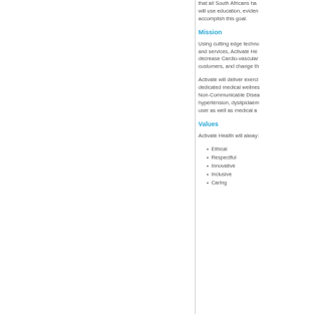that all South Africans ha... will use education, eviden... accomplish this goal.
Mission
Using cutting edge techno... and services, Activate He... decrease Cardio-vascular... customers, and change th...
Activate will deliver exerci... dedicated medical wellnes... Non-Communicable Disea... hypertension, dyslipidaem... user as well as medical a...
Values
Activate Health will alway:
Ethical
Respectful
Innovative
Inclusive
Caring